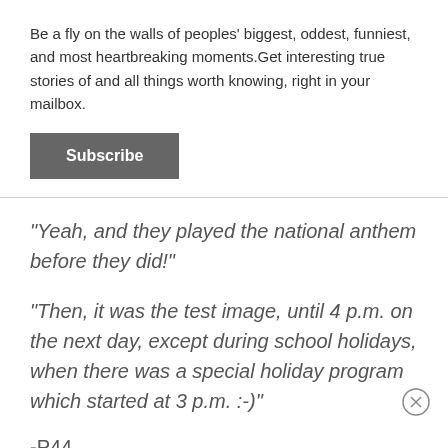Be a fly on the walls of peoples' biggest, oddest, funniest, and most heartbreaking moments.Get interesting true stories of and all things worth knowing, right in your mailbox.
Subscribe
"Yeah, and they played the national anthem before they did!"
"Then, it was the test image, until 4 p.m. on the next day, except during school holidays, when there was a special holiday program which started at 3 p.m. :-)"
-P44